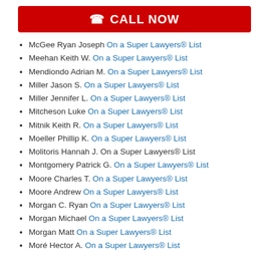[Figure (other): Red CALL NOW button with phone icon]
McGee Ryan Joseph On a Super Lawyers® List
Meehan Keith W. On a Super Lawyers® List
Mendiondo Adrian M. On a Super Lawyers® List
Miller Jason S. On a Super Lawyers® List
Miller Jennifer L. On a Super Lawyers® List
Mitcheson Luke On a Super Lawyers® List
Mitnik Keith R. On a Super Lawyers® List
Moeller Phillip K. On a Super Lawyers® List
Molitoris Hannah J. On a Super Lawyers® List
Montgomery Patrick G. On a Super Lawyers® List
Moore Charles T. On a Super Lawyers® List
Moore Andrew On a Super Lawyers® List
Morgan C. Ryan On a Super Lawyers® List
Morgan Michael On a Super Lawyers® List
Morgan Matt On a Super Lawyers® List
Moré Hector A. On a Super Lawyers® List